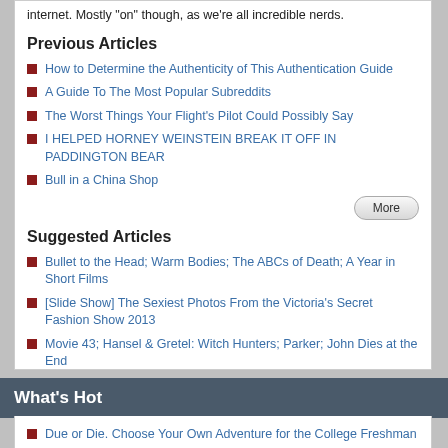internet. Mostly "on" though, as we're all incredible nerds.
Previous Articles
How to Determine the Authenticity of This Authentication Guide
A Guide To The Most Popular Subreddits
The Worst Things Your Flight's Pilot Could Possibly Say
I HELPED HORNEY WEINSTEIN BREAK IT OFF IN PADDINGTON BEAR
Bull in a China Shop
Suggested Articles
Bullet to the Head; Warm Bodies; The ABCs of Death; A Year in Short Films
[Slide Show] The Sexiest Photos From the Victoria's Secret Fashion Show 2013
Movie 43; Hansel & Gretel: Witch Hunters; Parker; John Dies at the End
Lawless; The Possession; V/H/S; Cosmopolis
I, Frankenstein; Big Bad Wolves; Ride Along; Devil's Due
What's Hot
Due or Die. Choose Your Own Adventure for the College Freshman
Living with The Cryptkeeper